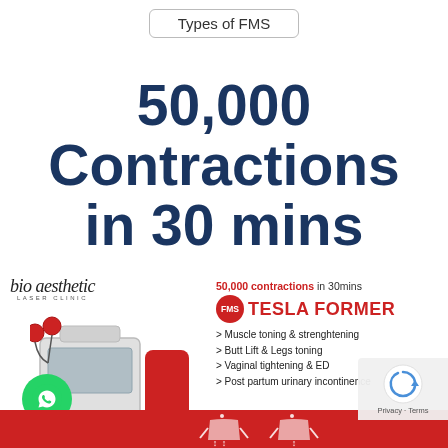Types of FMS
50,000 Contractions in 30 mins
[Figure (infographic): Bio Aesthetic Laser Clinic infographic showing a Tesla Former FMS device (white machine with red chair) next to FMS badge and features list: 50,000 contractions in 30mins, TESLA FORMER, Muscle toning & strenghtening, Butt Lift & Legs toning, Vaginal tightening & ED, Post partum urinary incontinence. Red strip at bottom with body silhouette icons. WhatsApp button visible. Privacy/reCAPTCHA overlay in bottom right corner.]